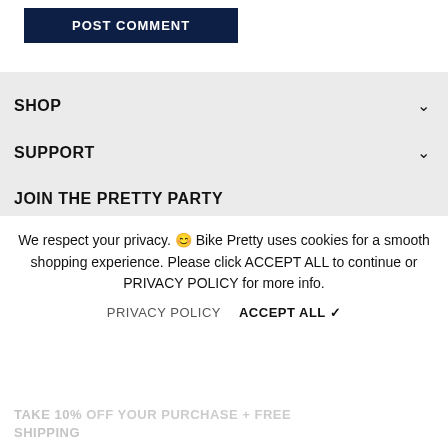[Figure (other): POST COMMENT button – dark navy background, white uppercase text]
SHOP
SUPPORT
JOIN THE PRETTY PARTY
We respect your privacy. 😊 Bike Pretty uses cookies for a smooth shopping experience. Please click ACCEPT ALL to continue or PRIVACY POLICY for more info.
PRIVACY POLICY   ACCEPT ALL ✔
TAKE 10% OFF YOUR PURCHASE + FREE SHIPPING